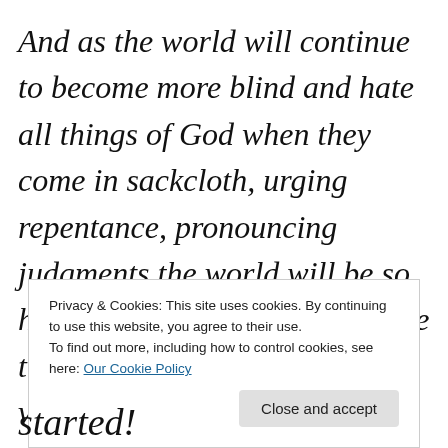And as the world will continue to become more blind and hate all things of God when they come in sackcloth, urging repentance, pronouncing judgments the world will be so happy to see them dead because they will no longer hear the voice of truth, that they will in fact have a world-
Privacy & Cookies: This site uses cookies. By continuing to use this website, you agree to their use. To find out more, including how to control cookies, see here: Our Cookie Policy
started!